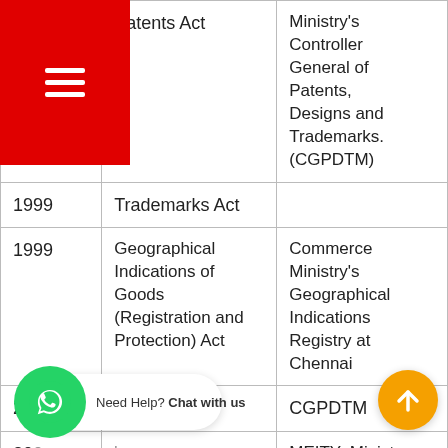| Year | Act | Agency |
| --- | --- | --- |
| [19]0 | Patents Act | Ministry's Controller General of Patents, Designs and Trademarks. (CGPDTM) |
| 1999 | Trademarks Act |  |
| 1999 | Geographical Indications of Goods (Registration and Protection) Act | Commerce Ministry's Geographical Indications Registry at Chennai |
| 2000 | Designs Act | CGPDTM |
| 200[0] | [Semiconductor's] Integrated Circuits Layout-Design Act | MEITY: Ministry of Electronics and Information |